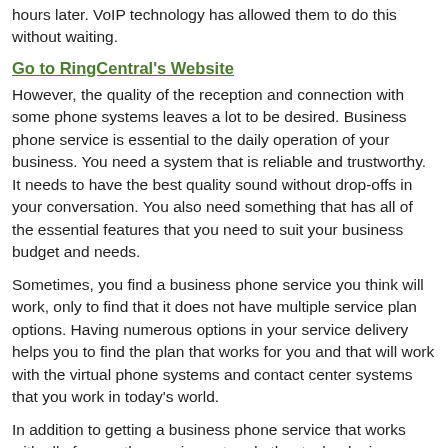hours later. VoIP technology has allowed them to do this without waiting.
Go to RingCentral's Website
However, the quality of the reception and connection with some phone systems leaves a lot to be desired. Business phone service is essential to the daily operation of your business. You need a system that is reliable and trustworthy. It needs to have the best quality sound without drop-offs in your conversation. You also need something that has all of the essential features that you need to suit your business budget and needs.
Sometimes, you find a business phone service you think will work, only to find that it does not have multiple service plan options. Having numerous options in your service delivery helps you to find the plan that works for you and that will work with the virtual phone systems and contact center systems that you work in today's world.
In addition to getting a business phone service that works with all of your other equipment and other technologies, you need different tools, too such as mobile capabilities and collaboration tools. Some of the most common tools you need are listed below:
Call forwarding
Voicemail transcription